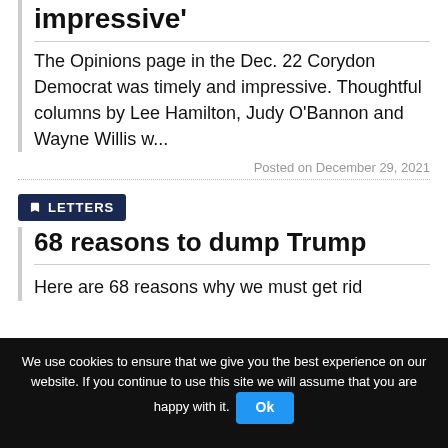impressive'
The Opinions page in the Dec. 22 Corydon Democrat was timely and impressive. Thoughtful columns by Lee Hamilton, Judy O'Bannon and Wayne Willis w...
Posted on December 29, 2021
LETTERS
68 reasons to dump Trump
Here are 68 reasons why we must get rid
We use cookies to ensure that we give you the best experience on our website. If you continue to use this site we will assume that you are happy with it.